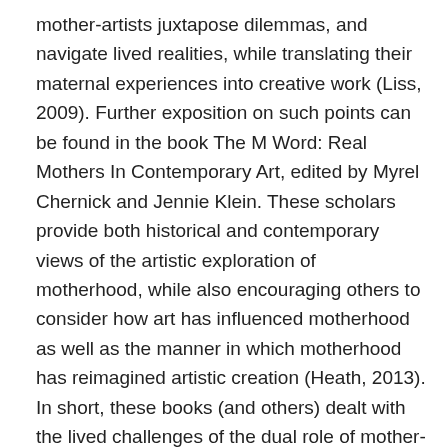mother-artists juxtapose dilemmas, and navigate lived realities, while translating their maternal experiences into creative work (Liss, 2009). Further exposition on such points can be found in the book The M Word: Real Mothers In Contemporary Art, edited by Myrel Chernick and Jennie Klein. These scholars provide both historical and contemporary views of the artistic exploration of motherhood, while also encouraging others to consider how art has influenced motherhood as well as the manner in which motherhood has reimagined artistic creation (Heath, 2013). In short, these books (and others) dealt with the lived challenges of the dual role of mother-artist and have made a significant contribution to the emerging debate of art in motherhood.
At the same time emerging narratives and discussions about individual mother-artists have become exceedingly little